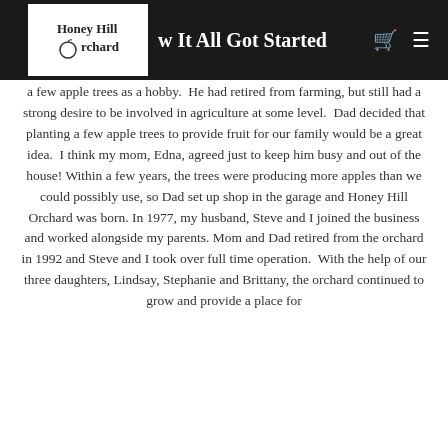Honey Hill Orchard — How It All Got Started
a few apple trees as a hobby. He had retired from farming, but still had a strong desire to be involved in agriculture at some level. Dad decided that planting a few apple trees to provide fruit for our family would be a great idea. I think my mom, Edna, agreed just to keep him busy and out of the house! Within a few years, the trees were producing more apples than we could possibly use, so Dad set up shop in the garage and Honey Hill Orchard was born. In 1977, my husband, Steve and I joined the business and worked alongside my parents. Mom and Dad retired from the orchard in 1992 and Steve and I took over full time operation. With the help of our three daughters, Lindsay, Stephanie and Brittany, the orchard continued to grow and provide a place for